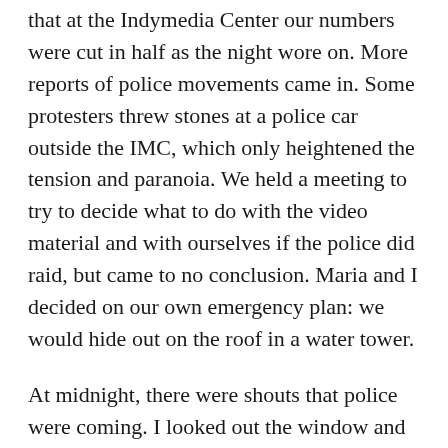that at the Indymedia Center our numbers were cut in half as the night wore on. More reports of police movements came in. Some protesters threw stones at a police car outside the IMC, which only heightened the tension and paranoia. We held a meeting to try to decide what to do with the video material and with ourselves if the police did raid, but came to no conclusion. Maria and I decided on our own emergency plan: we would hide out on the roof in a water tower.
At midnight, there were shouts that police were coming. I looked out the window and was unable to see anything, but people started running around grabbing things and barricading doors. I ran to find Maria and reminded her about the hiding place on the roof I had checked out earlier. She grabbed the